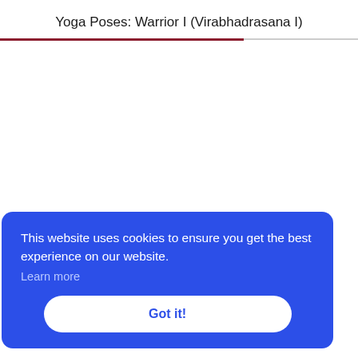Yoga Poses: Warrior I (Virabhadrasana I)
This website uses cookies to ensure you get the best experience on our website.
Learn more
Got it!